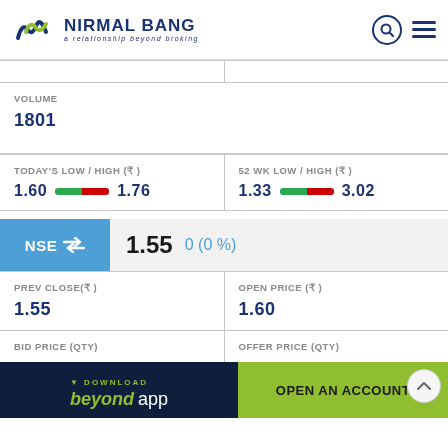[Figure (logo): Nirmal Bang logo with teal/green wave symbol and company name]
VOLUME
1801
TODAY'S LOW / HIGH (₹)
1.60  1.76
52 WK LOW / HIGH (₹)
1.33  3.02
NSE  1.55  0 (0 %)
PREV CLOSE(₹)
1.55
OPEN PRICE (₹)
1.60
BID PRICE (QTY)
OFFER PRICE (QTY)
[Figure (screenshot): Dark banner with 'DOWNLOAD beyond app' text in dark navy and green]
[Figure (other): Green 'OPEN AN ACCOUNT' button]